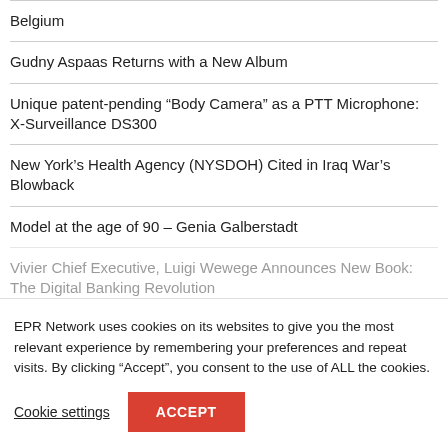Belgium
Gudny Aspaas Returns with a New Album
Unique patent-pending “Body Camera” as a PTT Microphone: X-Surveillance DS300
New York’s Health Agency (NYSDOH) Cited in Iraq War’s Blowback
Model at the age of 90 – Genia Galberstadt
Vivier Chief Executive, Luigi Wewege Announces New Book: The Digital Banking Revolution
EPR Network uses cookies on its websites to give you the most relevant experience by remembering your preferences and repeat visits. By clicking “Accept”, you consent to the use of ALL the cookies.
Cookie settings
ACCEPT